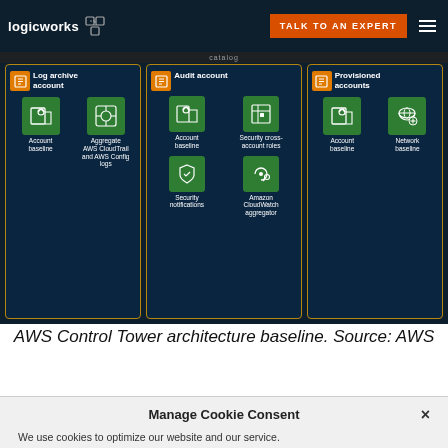logicworks | TALK TO AN EXPERT
[Figure (infographic): AWS Control Tower architecture baseline diagram showing three account cards: Log archive account (Account baseline, Aggregate AWS CloudTrail and AWS Config logs), Audit account (Account baseline, Security cross-account roles, Security notifications, Amazon CloudWatch aggregator), and Provisioned accounts (Account baseline, Network baseline). Each card has orange badge icons and green service icons on dark navy background with gold border.]
AWS Control Tower architecture baseline. Source: AWS
Manage Cookie Consent
We use cookies to optimize our website and our service.
Accept